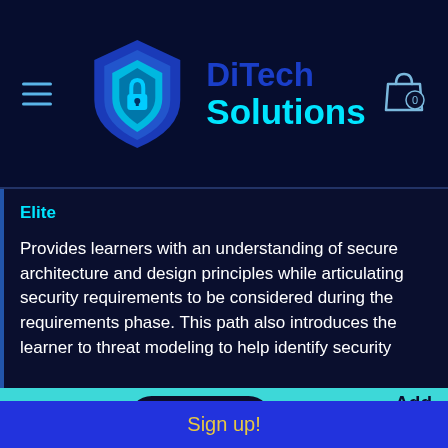[Figure (logo): DiTech Solutions shield logo with layered blue shield and lock emblem]
DiTech Solutions
Elite
Provides learners with an understanding of secure architecture and design principles while articulating security requirements to be considered during the requirements phase. This path also introduces the learner to threat modeling to help identify security
$795.00
Add to
Sign up!